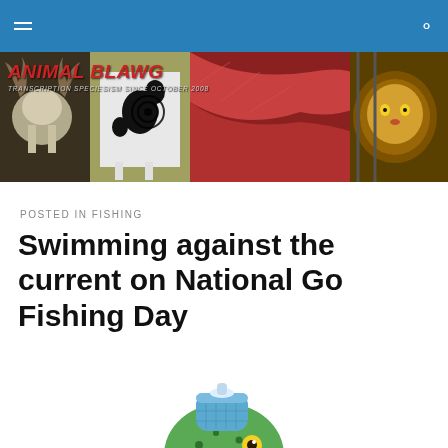Navigation bar with hamburger menu and search icon
[Figure (illustration): Animal Blawg website banner showing animals including a moose skull, black and white cow, fish, and lion, with site title 'Animal Blawg' in red italic text and subtitle 'Transcription Speciesism Since October 2008']
POSTED IN FISHING
Swimming against the current on National Go Fishing Day
[Figure (illustration): Cartoon illustration of a sick-looking green fish with a blue ice pack on its head and a fish hook in its mouth, partially visible at the bottom of the page]